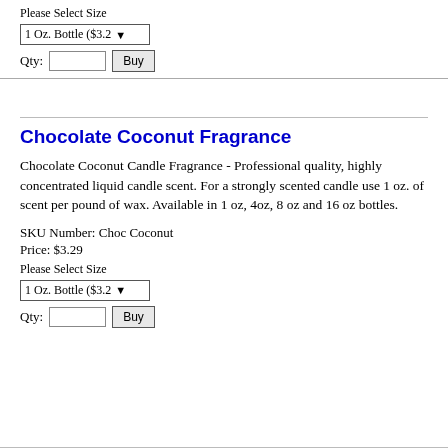Please Select Size
1 Oz. Bottle ($3.2…
Qty:  [input]  Buy
Chocolate Coconut Fragrance
Chocolate Coconut Candle Fragrance - Professional quality, highly concentrated liquid candle scent. For a strongly scented candle use 1 oz. of scent per pound of wax. Available in 1 oz, 4oz, 8 oz and 16 oz bottles.
SKU Number: Choc Coconut
Price: $3.29
Please Select Size
1 Oz. Bottle ($3.2…
Qty:  [input]  Buy